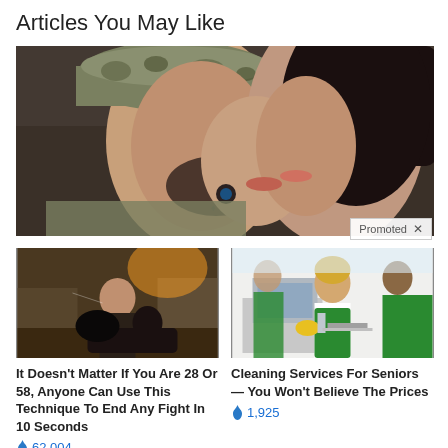Articles You May Like
[Figure (photo): A soldier in camouflage uniform and hat kissing a dark-haired woman, close-up romantic photo]
[Figure (photo): Two people fighting in a ruined outdoor location, action scene]
It Doesn't Matter If You Are 28 Or 58, Anyone Can Use This Technique To End Any Fight In 10 Seconds
62,004
[Figure (photo): Women in green aprons cleaning an office, cleaning services promotional photo]
Cleaning Services For Seniors — You Won't Believe The Prices
1,925